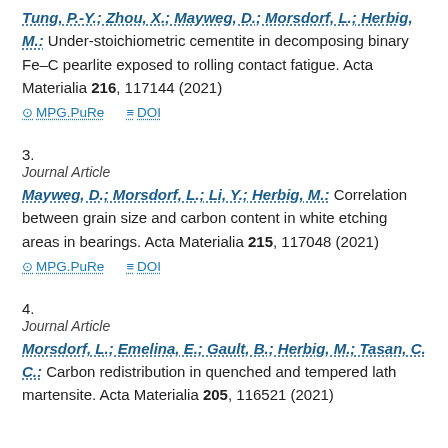Tung, P.-Y.; Zhou, X.; Mayweg, D.; Morsdorf, L.; Herbig, M.: Under-stoichiometric cementite in decomposing binary Fe–C pearlite exposed to rolling contact fatigue. Acta Materialia 216, 117144 (2021)
MPG.PuRe   DOI
3.
Journal Article
Mayweg, D.; Morsdorf, L.; Li, Y.; Herbig, M.: Correlation between grain size and carbon content in white etching areas in bearings. Acta Materialia 215, 117048 (2021)
MPG.PuRe   DOI
4.
Journal Article
Morsdorf, L.; Emelina, E.; Gault, B.; Herbig, M.; Tasan, C. C.: Carbon redistribution in quenched and tempered lath martensite. Acta Materialia 205, 116521 (2021)